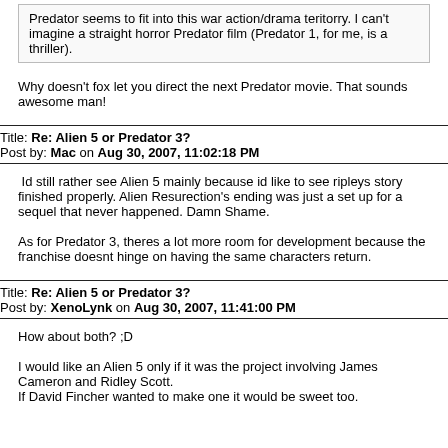Predator seems to fit into this war action/drama teritorry. I can't imagine a straight horror Predator film (Predator 1, for me, is a thriller).
Why doesn't fox let you direct the next Predator movie. That sounds awesome man!
Title: Re: Alien 5 or Predator 3?
Post by: Mac on Aug 30, 2007, 11:02:18 PM
Id still rather see Alien 5 mainly because id like to see ripleys story finished properly. Alien Resurection's ending was just a set up for a sequel that never happened. Damn Shame.

As for Predator 3, theres a lot more room for development because the franchise doesnt hinge on having the same characters return.
Title: Re: Alien 5 or Predator 3?
Post by: XenoLynk on Aug 30, 2007, 11:41:00 PM
How about both? ;D

I would like an Alien 5 only if it was the project involving James Cameron and Ridley Scott.
If David Fincher wanted to make one it would be sweet too.